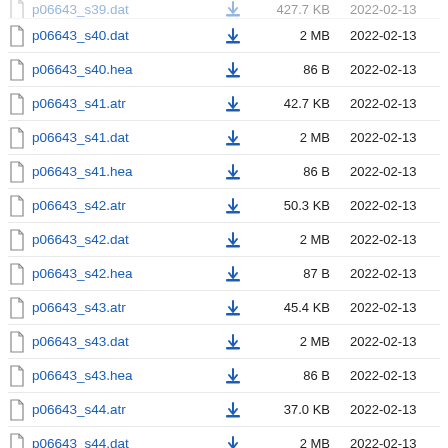p06643_s39.dat  2 MB  2022-02-13
p06643_s40.dat  2 MB  2022-02-13
p06643_s40.hea  86 B  2022-02-13
p06643_s41.atr  42.7 KB  2022-02-13
p06643_s41.dat  2 MB  2022-02-13
p06643_s41.hea  86 B  2022-02-13
p06643_s42.atr  50.3 KB  2022-02-13
p06643_s42.dat  2 MB  2022-02-13
p06643_s42.hea  87 B  2022-02-13
p06643_s43.atr  45.4 KB  2022-02-13
p06643_s43.dat  2 MB  2022-02-13
p06643_s43.hea  86 B  2022-02-13
p06643_s44.atr  37.0 KB  2022-02-13
p06643_s44.dat  2 MB  2022-02-13